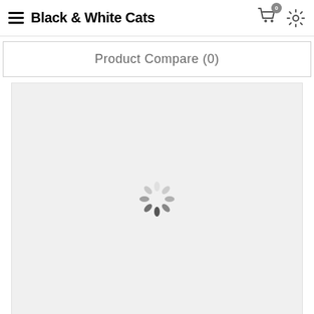Black & White Cats
Product Compare (0)
[Figure (illustration): Loading spinner — a circular arrangement of gray/white oval shapes indicating a loading state, displayed in the center of a light gray content area]